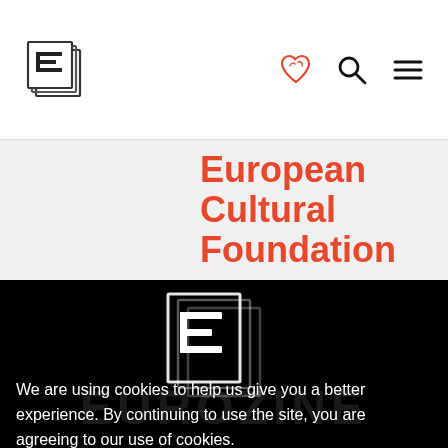[Figure (logo): Eurozine stylized E logo in top-left nav bar]
[Figure (infographic): Heart/handshake icon, search icon, hamburger menu icon in nav bar]
European Cultural Foundation
[Figure (logo): Large Eurozine E logo on dark background]
We are using cookies to help us give you a better experience. By continuing to use the site, you are agreeing to our use of cookies.
Confirm